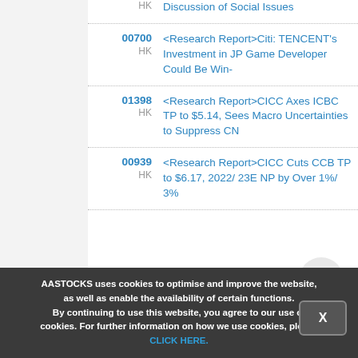HK — Extending Access to More Discussion of Social Issues (partial, top cut off)
00700 HK — <Research Report>Citi: TENCENT's Investment in JP Game Developer Could Be Win-
01398 HK — <Research Report>CICC Axes ICBC TP to $5.14, Sees Macro Uncertainties to Suppress CN
00939 HK — <Research Report>CICC Cuts CCB TP to $6.17, 2022/ 23E NP by Over 1%/ 3%
AASTOCKS uses cookies to optimise and improve the website, as well as enable the availability of certain functions. By continuing to use this website, you agree to our use of cookies. For further information on how we use cookies, please CLICK HERE.